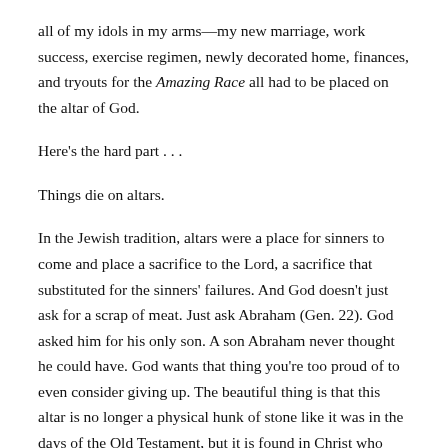all of my idols in my arms—my new marriage, work success, exercise regimen, newly decorated home, finances, and tryouts for the Amazing Race all had to be placed on the altar of God.
Here's the hard part . . .
Things die on altars.
In the Jewish tradition, altars were a place for sinners to come and place a sacrifice to the Lord, a sacrifice that substituted for the sinners' failures. And God doesn't just ask for a scrap of meat. Just ask Abraham (Gen. 22). God asked him for his only son. A son Abraham never thought he could have. God wants that thing you're too proud of to even consider giving up. The beautiful thing is that this altar is no longer a physical hunk of stone like it was in the days of the Old Testament, but it is found in Christ who takes our worst attributes on himself and gives us more of his goodness instead. No questions asked. God provided a substitute for Abraham's son that day and God provides the ultimate substitute for us daily in Christ.